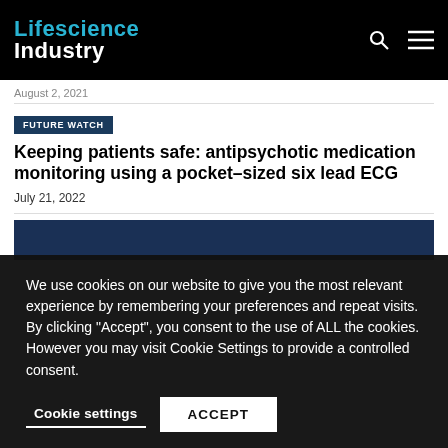Lifescience Industry
August 2, 2021
FUTURE WATCH
Keeping patients safe: antipsychotic medication monitoring using a pocket-sized six lead ECG
July 21, 2022
We use cookies on our website to give you the most relevant experience by remembering your preferences and repeat visits. By clicking “Accept”, you consent to the use of ALL the cookies. However you may visit Cookie Settings to provide a controlled consent.
Cookie settings
ACCEPT